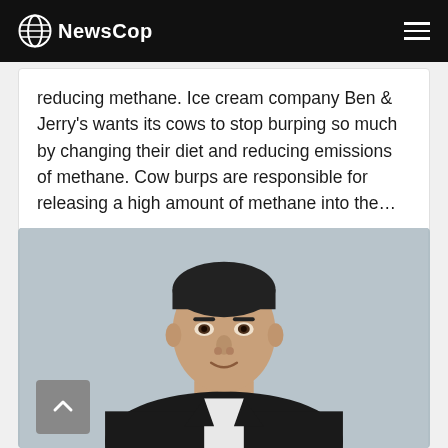NewsCop
reducing methane. Ice cream company Ben & Jerry's wants its cows to stop burping so much by changing their diet and reducing emissions of methane. Cow burps are responsible for releasing a high amount of methane into the…
[Figure (photo): Headshot of a young man in a dark suit jacket and white shirt, with short dark hair, light complexion, photographed against a gray background.]